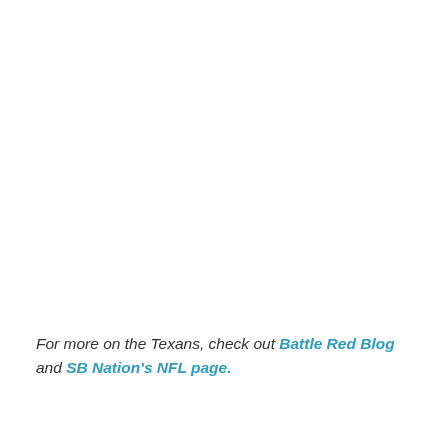For more on the Texans, check out Battle Red Blog and SB Nation's NFL page.